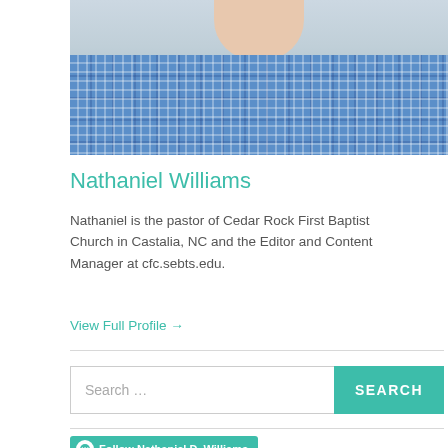[Figure (photo): Portrait photo of Nathaniel Williams, a man wearing a blue plaid/gingham shirt, cropped to show neck and shoulders area, with a blurred outdoor background]
Nathaniel Williams
Nathaniel is the pastor of Cedar Rock First Baptist Church in Castalia, NC and the Editor and Content Manager at cfc.sebts.edu.
View Full Profile →
Search ...
SEARCH
Follow Nathaniel D. Williams